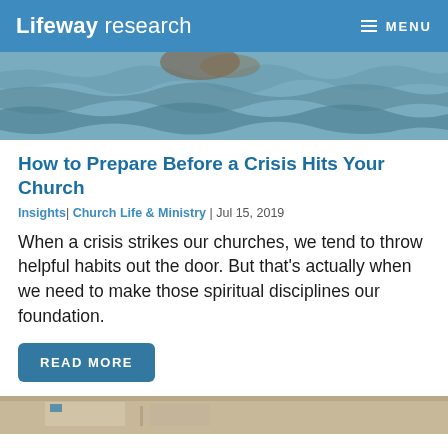Lifeway research  MENU
[Figure (photo): Water surface with ripples and reflections — partial view of a person or object above]
How to Prepare Before a Crisis Hits Your Church
Insights| Church Life & Ministry | Jul 15, 2019
When a crisis strikes our churches, we tend to throw helpful habits out the door. But that's actually when we need to make those spiritual disciplines our foundation.
READ MORE
[Figure (photo): Partial bottom image — appears to be a table or surface with some items, cropped]